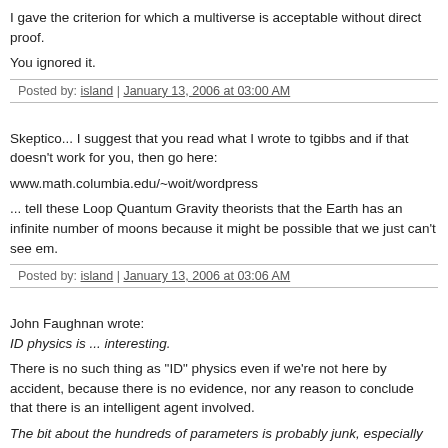I gave the criterion for which a multiverse is acceptable without direct proof.
You ignored it.
Posted by: island | January 13, 2006 at 03:00 AM
Skeptico... I suggest that you read what I wrote to tgibbs and if that doesn't work for you, then go here:
www.math.columbia.edu/~woit/wordpress
... tell these Loop Quantum Gravity theorists that the Earth has an infinite number of moons because it might be possible that we just can't see em.
Posted by: island | January 13, 2006 at 03:06 AM
John Faughnan wrote:
ID physics is ... interesting.
There is no such thing as "ID" physics even if we're not here by accident, because there is no evidence, nor any reason to conclude that there is an intelligent agent involved.
The bit about the hundreds of parameters is probably junk, especially since the de Broglie-Bohm interpretation. Still the cosmological fine-tuning doesn't